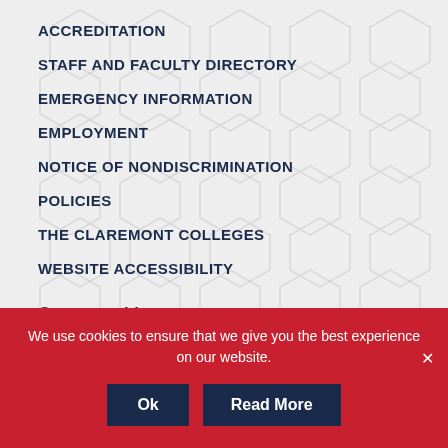ACCREDITATION
STAFF AND FACULTY DIRECTORY
EMERGENCY INFORMATION
EMPLOYMENT
NOTICE OF NONDISCRIMINATION
POLICIES
THE CLAREMONT COLLEGES
WEBSITE ACCESSIBILITY
Connect with us
[Figure (other): Social media icon buttons: Fb, Ig, Tw, Yt, Pc, Fl, Li, Tt]
We use cookies to ensure that we give you the best experience on our website.
Ok  Read More